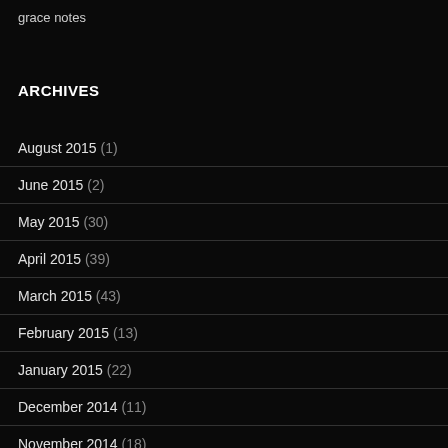grace notes
ARCHIVES
August 2015 (1)
June 2015 (2)
May 2015 (30)
April 2015 (39)
March 2015 (43)
February 2015 (13)
January 2015 (22)
December 2014 (11)
November 2014 (18)